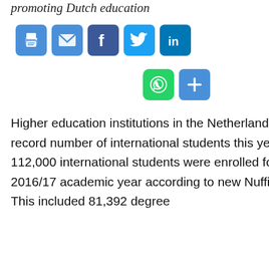promoting Dutch education
[Figure (infographic): Social sharing icons: print, email, Facebook, Twitter, LinkedIn, WhatsApp, share more]
Higher education institutions in the Netherlands received a record number of international students this year: over 112,000 international students were enrolled for the 2016/17 academic year according to new Nuffic statistics. This included 81,392 degree
UK ELT shows real gains in second quarter of 2022
What is behind the dramatic expansion of the international sector?
Why have Chinese students been slower to recover this
New Zealand expands work programme for 2022/23
ICEF Podcast: The growing importance of career opportunities for international Students
Gradual reopening of China underway